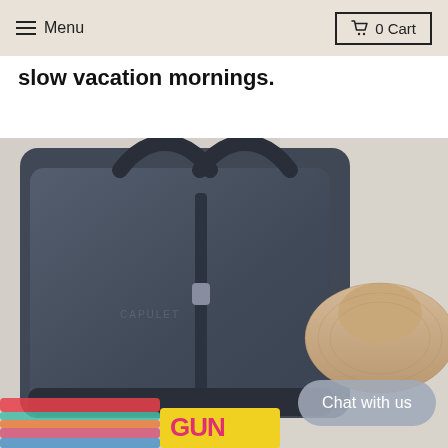Menu  0 Cart
slow vacation mornings.
[Figure (photo): A dark navy-blue leather tote bag lying on a white linen surface, next to a woven straw sun hat and a yellow book partially visible at the bottom. A colorful striped strap (pink, teal, multicolor) is also visible at the lower left.]
Chat with us